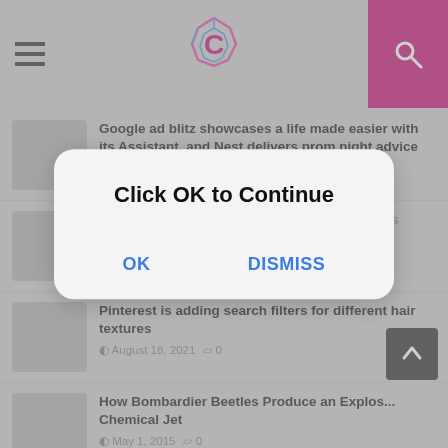[Figure (logo): Website header with hamburger menu, crystalline C logo in pink/blue, and magenta search button]
Google ad blitz showcases a life made easier with its Assistant, and Nest delivers prom night advice
October 5, 2021  0
W... Genetic Changes, Dangerous Health Risks
February 27, 2020  0
[Figure (screenshot): Modal dialog with 'Click OK to Continue' title and OK / DISMISS buttons]
Pinterest is adding search filters for different hair textures
August 18, 2021  0
How Bombardier Beetles Produce an Explos... Chemical Jet
May 1, 2015  0